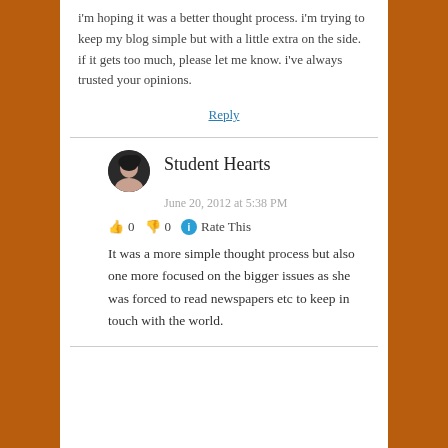i'm hoping it was a better thought process. i'm trying to keep my blog simple but with a little extra on the side. if it gets too much, please let me know. i've always trusted your opinions.
Reply
Student Hearts
June 20, 2012 at 5:38 PM
👍 0 👎 0 ℹ Rate This
It was a more simple thought process but also one more focused on the bigger issues as she was forced to read newspapers etc to keep in touch with the world.